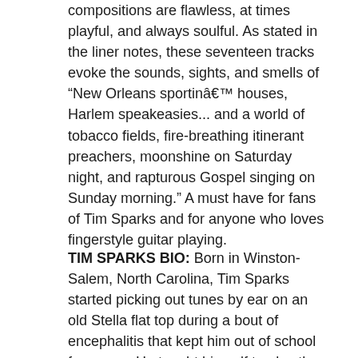compositions are flawless, at times playful, and always soulful. As stated in the liner notes, these seventeen tracks evoke the sounds, sights, and smells of "New Orleans sportinâ€™ houses, Harlem speakeasies... and a world of tobacco fields, fire-breathing itinerant preachers, moonshine on Saturday night, and rapturous Gospel singing on Sunday morning." A must have for fans of Tim Sparks and for anyone who loves fingerstyle guitar playing.
TIM SPARKS BIO: Born in Winston-Salem, North Carolina, Tim Sparks started picking out tunes by ear on an old Stella flat top during a bout of encephalitis that kept him out of school for a year. He taught himself to play the music he heard around him: traditional country blues and the gospel his